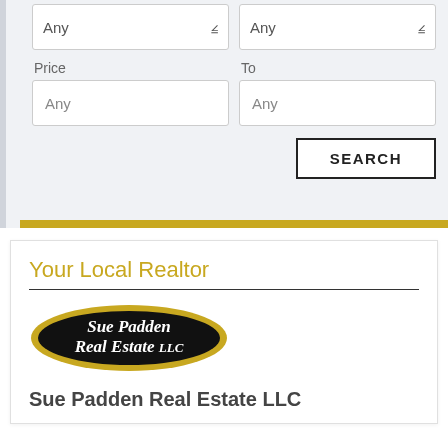[Figure (screenshot): Web form section showing two dropdown fields (both labeled 'Any'), a Price field and To field (both with 'Any' placeholder), and a SEARCH button with black border.]
[Figure (logo): Sue Padden Real Estate LLC oval logo with black background and gold border, white italic text reading 'Sue Padden Real Estate LLC']
Your Local Realtor
Sue Padden Real Estate LLC